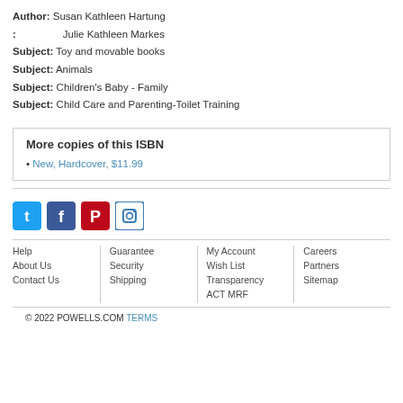Author: Susan Kathleen Hartung
: Julie Kathleen Markes
Subject: Toy and movable books
Subject: Animals
Subject: Children's Baby - Family
Subject: Child Care and Parenting-Toilet Training
More copies of this ISBN
New, Hardcover, $11.99
[Figure (other): Social media icons: Twitter, Facebook, Pinterest, Instagram]
Help | About Us | Contact Us | Guarantee | Security | Shipping | My Account | Wish List | Transparency | ACT MRF | Careers | Partners | Sitemap
© 2022 POWELLS.COM TERMS